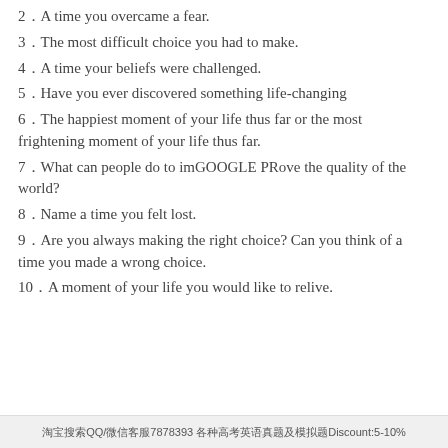2．A time you overcame a fear.
3．The most difficult choice you had to make.
4．A time your beliefs were challenged.
5．Have you ever discovered something life-changing
6．The happiest moment of your life thus far or the most frightening moment of your life thus far.
7．What can people do to imGOOGLE PRove the quality of the world?
8．Name a time you felt lost.
9．Are you always making the right choice? Can you think of a time you made a wrong choice.
10．A moment of your life you would like to relive.
淘宝搜索QQ/微信客服7878393 各种高考英语真题及模拟题Discount:5-10%